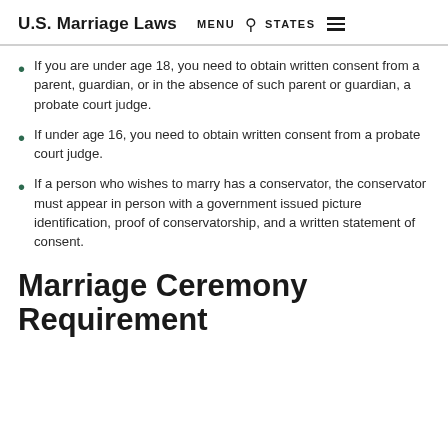U.S. Marriage Laws  MENU  STATES
If you are under age 18, you need to obtain written consent from a parent, guardian, or in the absence of such parent or guardian, a probate court judge.
If under age 16, you need to obtain written consent from a probate court judge.
If a person who wishes to marry has a conservator, the conservator must appear in person with a government issued picture identification, proof of conservatorship, and a written statement of consent.
Marriage Ceremony Requirement